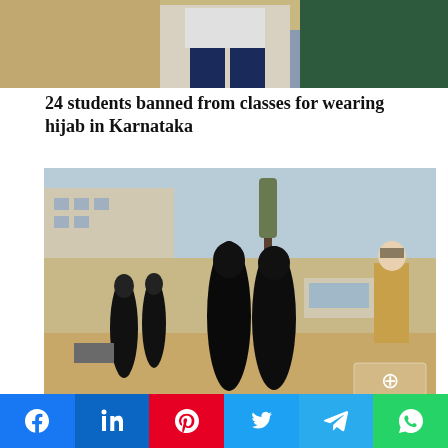[Figure (photo): Top portion of a photo showing students in school uniform against a blackboard background]
24 students banned from classes for wearing hijab in Karnataka
[Figure (photo): Street scene showing women in black hijabs/burqas walking on a road in Karnataka, India, with a police officer in khaki uniform standing on the right side]
Indian court upholds Karnataka state's ban on hijab in class
[Figure (photo): Partial view of another news photo at the bottom of the page]
Social sharing bar with Facebook, LinkedIn, Pinterest, Twitter, Telegram, WhatsApp icons